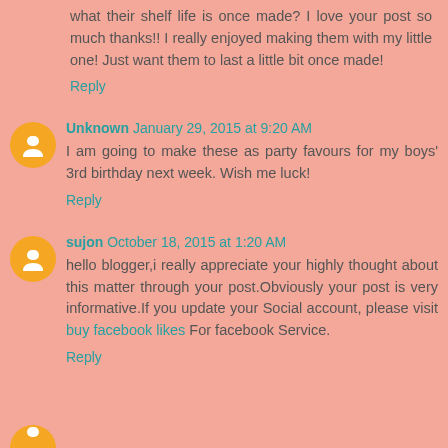what their shelf life is once made? I love your post so much thanks!!  I  really  enjoyed  making  them  with  my  little  one!  Just want them to last a little bit once made!
Reply
Unknown  January 29, 2015 at 9:20 AM
I am going to make these as party favours for my boys' 3rd birthday next week. Wish me luck!
Reply
sujon  October 18, 2015 at 1:20 AM
hello blogger,i really appreciate your highly thought about this matter through your post.Obviously your post is very informative.If you update your Social account, please visit buy facebook likes For facebook Service.
Reply